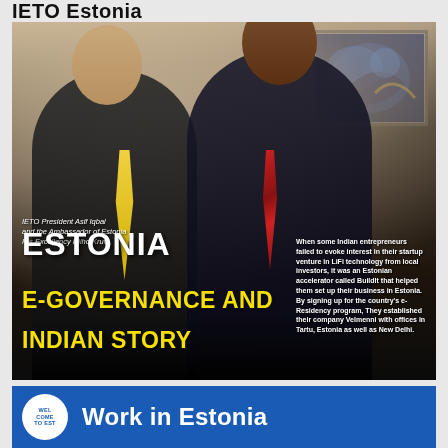IETO Estonia
[Figure (photo): Photo of two men in suits standing together. Left man is lighter-skinned wearing a dark suit with yellow tie. Right man is darker-skinned wearing a pinstripe suit with red striped tie. A blue abstract artwork is visible in the background. Text overlay on photo reads: 'IETO President Asif Iqbal and the Ambassador of Estonia His Excellency Riiho Kruv'. Large white text reads 'ESTONIA'. Large yellow text reads 'E-GOVERNANCE AND INDIAN STORY'. Side text describes Indian entrepreneurs and Estonian e-Residency program.]
IETO President Asif Iqbal and the Ambassador of Estonia His Excellency Riiho Kruv
When some Indian entrepreneurs failed to evoke interest in their startup venture in LiFi technology from local investors, it was an Estonian accelerator called BuildIt that helped them set up their business in Estonia. By signing up for the country's e-Residency program, They established their company Velmenni with offices in Tartu, Estonia as well as New Delhi.
ESTONIA
E-GOVERNANCE AND INDIAN STORY
Work in Estonia